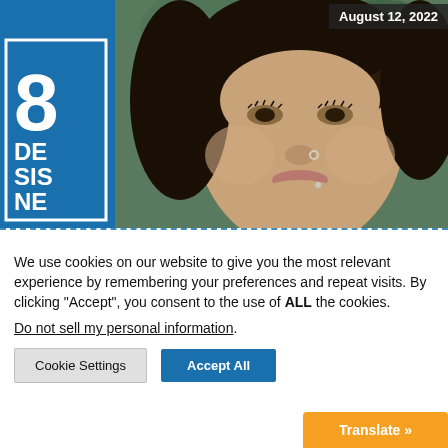[Figure (photo): Close-up photo of a young woman with curly hair looking upward, with a nose ring. Partially overlaid with a blue sidebar showing a large number 8 and text reading DE SIS NE in a white bordered box.]
August 12, 2022
We use cookies on our website to give you the most relevant experience by remembering your preferences and repeat visits. By clicking “Accept”, you consent to the use of ALL the cookies.
Do not sell my personal information.
Cookie Settings
Accept All
Translate »